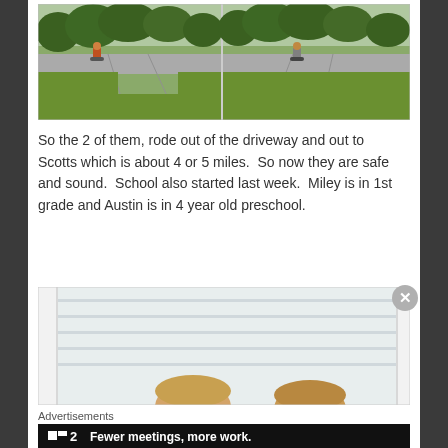[Figure (photo): Two side-by-side outdoor photos showing bicycles/motorcycle riders leaving a driveway onto a street, with green grass lawns and trees in background]
So the 2 of them, rode out of the driveway and out to Scotts which is about 4 or 5 miles.  So now they are safe and sound.  School also started last week.  Miley is in 1st grade and Austin is in 4 year old preschool.
[Figure (photo): Photo of two children's heads peeking up from the bottom of the frame, with a white siding wall and window frame visible in the background]
Advertisements
[Figure (other): Advertisement banner: Plan icon with number 2, text 'Fewer meetings, more work.']